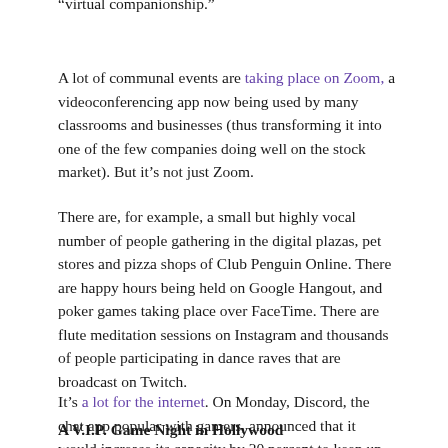“virtual companionship.”
A lot of communal events are taking place on Zoom, a videoconferencing app now being used by many classrooms and businesses (thus transforming it into one of the few companies doing well on the stock market). But it’s not just Zoom.
There are, for example, a small but highly vocal number of people gathering in the digital plazas, pet stores and pizza shops of Club Penguin Online. There are happy hours being held on Google Hangout, and poker games taking place over FaceTime. There are flute meditation sessions on Instagram and thousands of people participating in dance raves that are broadcast on Twitch.
It’s a lot for the internet. On Monday, Discord, the chat app popular with gamers, announced that it would increase its capacity by 20 percent to keep up with demand; it crashed shortly thereafter.
A V.I.P. Game Night in Hollywood